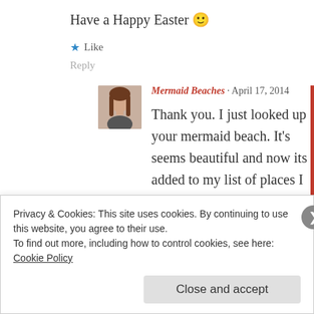Have a Happy Easter 🙂
★ Like
Reply
[Figure (photo): Small avatar photo of a woman with long hair]
Mermaid Beaches · April 17, 2014
Thank you. I just looked up your mermaid beach. It's seems beautiful and now its added to my list of places I must visit.
Privacy & Cookies: This site uses cookies. By continuing to use this website, you agree to their use.
To find out more, including how to control cookies, see here: Cookie Policy